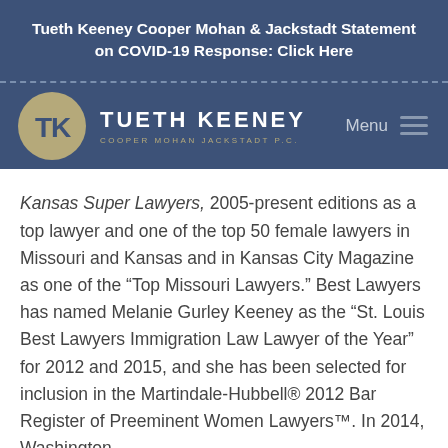Tueth Keeney Cooper Mohan & Jackstadt Statement on COVID-19 Response: Click Here
[Figure (logo): Tueth Keeney Cooper Mohan Jackstadt P.C. law firm logo with circular TK monogram and firm name]
Kansas Super Lawyers, 2005-present editions as a top lawyer and one of the top 50 female lawyers in Missouri and Kansas and in Kansas City Magazine as one of the “Top Missouri Lawyers.” Best Lawyers has named Melanie Gurley Keeney as the “St. Louis Best Lawyers Immigration Law Lawyer of the Year” for 2012 and 2015, and she has been selected for inclusion in the Martindale-Hubbell® 2012 Bar Register of Preeminent Women Lawyers™. In 2014, Washington